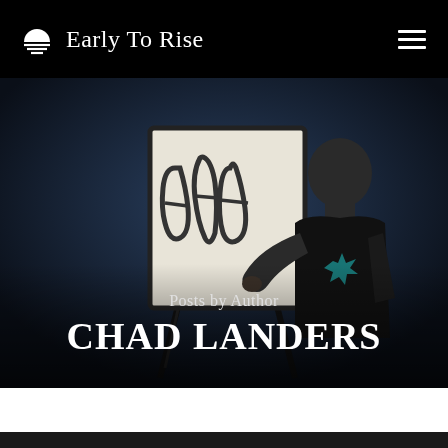Early To Rise
[Figure (photo): A man in a black t-shirt with a teal starburst logo writing on a flip chart/whiteboard against a dark blue background. Text overlay reads 'Posts by Author CHAD LANDERS'.]
Posts by Author CHAD LANDERS